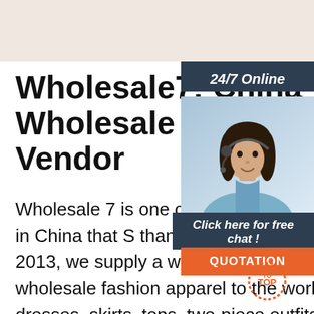[Figure (photo): Beige/cream top banner background area]
Wholesale7: China Wholesale Boutique Clothing Vendor
[Figure (photo): Woman with headset smiling, customer service representative, with dark teal background header showing '24/7 Online' and orange QUOTATION button and 'Click here for free chat!' text]
Wholesale 7 is one of the largest online boutique clothing vendor in China that S than 20,000 wholesalers, retailers, and Since 2013, we supply a wide range of inexpensive and high-quality wholesale fashion apparel to the world,including women's dresses, skirts, tops, two-piece outfits, rompers, and leggings.
[Figure (logo): Orange dotted circle TOP badge in bottom right corner]